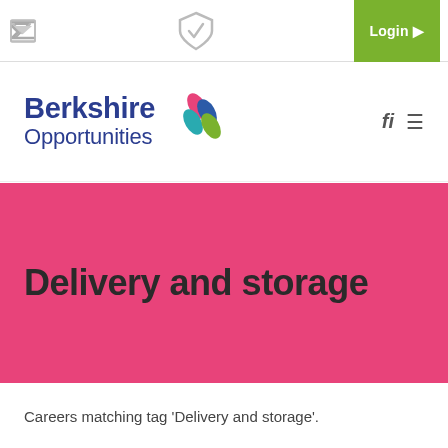Login
[Figure (logo): Berkshire Opportunities logo with colorful arrow icon in pink, blue, teal and green]
Delivery and storage
Careers matching tag 'Delivery and storage'.